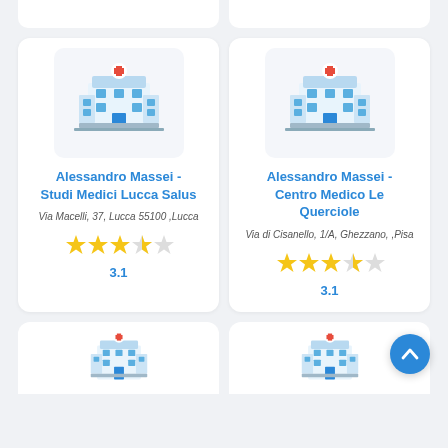[Figure (illustration): Two partial white card panels at the top of the page, cropped from above]
[Figure (photo): Hospital building icon in flat style with red cross]
Alessandro Massei - Studi Medici Lucca Salus
Via Macelli, 37, Lucca 55100 ,Lucca
[Figure (illustration): Star rating: 3.1 out of 5, showing 3 full stars and 1 half star]
3.1
[Figure (photo): Hospital building icon in flat style with red cross]
Alessandro Massei - Centro Medico Le Querciole
Via di Cisanello, 1/A, Ghezzano, ,Pisa
[Figure (illustration): Star rating: 3.1 out of 5, showing 3 full stars and 1 half star]
3.1
[Figure (photo): Two partial white card panels at the bottom, showing tops of hospital icons]
[Figure (illustration): Circular blue FAB button with upward chevron/arrow]